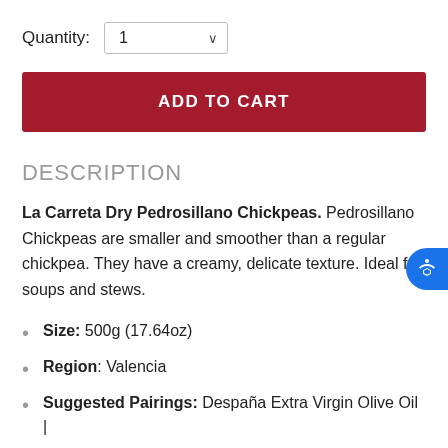Quantity: 1
ADD TO CART
DESCRIPTION
La Carreta Dry Pedrosillano Chickpeas. Pedrosillano Chickpeas are smaller and smoother than a regular chickpea. They have a creamy, delicate texture. Ideal for soups and stews.
Size: 500g (17.64oz)
Region: Valencia
Suggested Pairings: Despaña Extra Virgin Olive Oil |